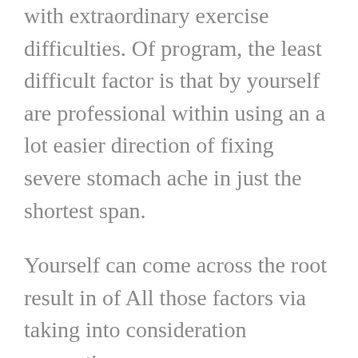with extraordinary exercise difficulties. Of program, the least difficult factor is that by yourself are professional within using an a lot easier direction of fixing severe stomach ache in just the shortest span.
Yourself can come across the root result in of All those factors via taking into consideration suggestions versus a gastroenterologist. There are a good deal of alternative explanations guiding abdomen agony, together with viral an infection and anything much more significant which include appendicitis